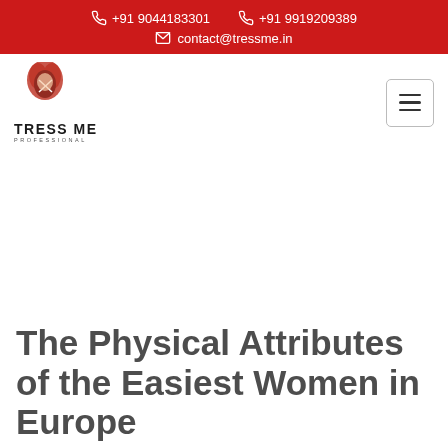+91 9044183301   +91 9919209389   contact@tressme.in
[Figure (logo): Tress Me Professional logo with stylized hair figure and scissors, text TRESS ME PROFESSIONAL]
The Physical Attributes of the Easiest Women in Europe